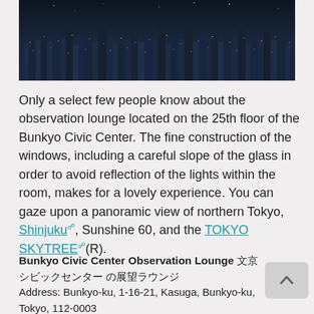[Figure (photo): Nighttime aerial panoramic view of Tokyo city skyline with densely packed illuminated buildings]
Only a select few people know about the observation lounge located on the 25th floor of the Bunkyo Civic Center. The fine construction of the windows, including a careful slope of the glass in order to avoid reflection of the lights within the room, makes for a lovely experience. You can gaze upon a panoramic view of northern Tokyo, Shinjuku, Sunshine 60, and the TOKYO SKYTREE(R).
Bunkyo Civic Center Observation Lounge 文京シビックセンター の展望ラウンジ
Address: Bunkyo-ku, 1-16-21, Kasuga, Bunkyo-ku, Tokyo, 112-0003